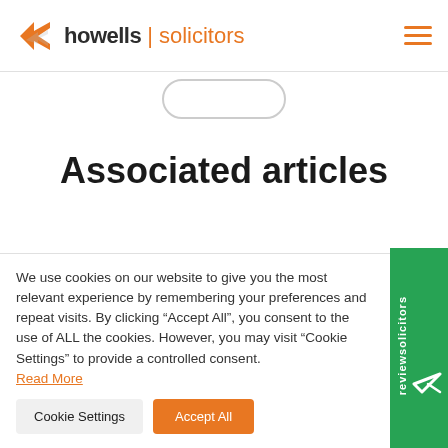howells | solicitors
Associated articles
We use cookies on our website to give you the most relevant experience by remembering your preferences and repeat visits. By clicking “Accept All”, you consent to the use of ALL the cookies. However, you may visit “Cookie Settings” to provide a controlled consent. Read More
Cookie Settings | Accept All